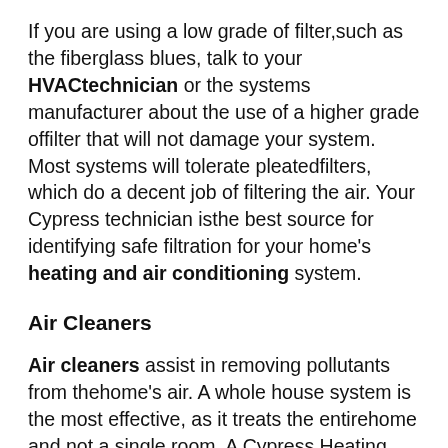If you are using a low grade of filter,such as the fiberglass blues, talk to your HVACtechnician or the systems manufacturer about the use of a higher grade offilter that will not damage your system. Most systems will tolerate pleatedfilters, which do a decent job of filtering the air. Your Cypress technician isthe best source for identifying safe filtration for your home's heating and air conditioning system.
Air Cleaners
Air cleaners assist in removing pollutants from thehome's air. A whole house system is the most effective, as it treats the entirehome and not a single room. A Cypress Heating and Air Conditioning professionalcan assist you in the selection of a system that will be effective for yourhome. Call today to